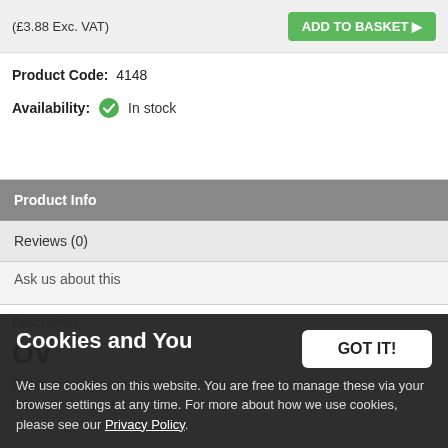(£3.88 Exc. VAT)
ADD TO BASKET ▶
Product Code: 4148
Availability: In stock
Product Info
Reviews (0)
Ask us about this
Cookies and You
We use cookies on this website. You are free to manage these via your browser settings at any time. For more about how we use cookies, please see our Privacy Policy.
GOT IT!
Description for beginners through to more advanced language learners, this pack includes: